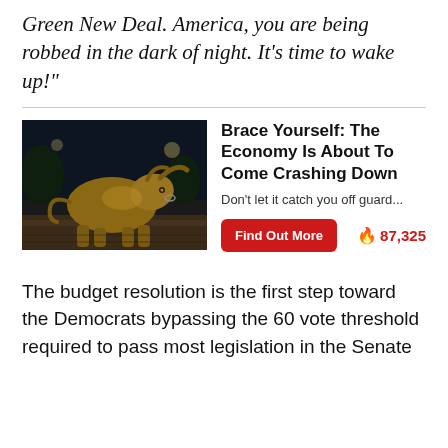Green New Deal. America, you are being robbed in the dark of night. It’s time to wake up!”
[Figure (photo): Bronze bull statue (Charging Bull) at night, illuminated, on a city street]
Brace Yourself: The Economy Is About To Come Crashing Down
Don't let it catch you off guard...
Find Out More
🔥 87,325
The budget resolution is the first step toward the Democrats bypassing the 60 vote threshold required to pass most legislation in the Senate